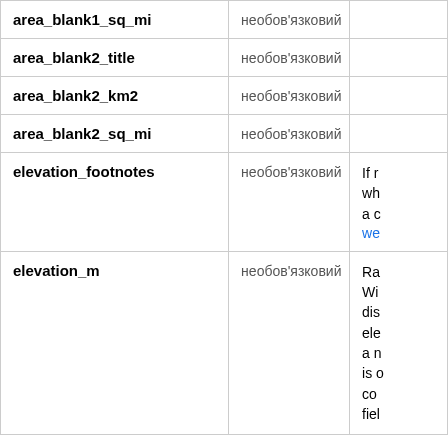| Field | Status | Description |
| --- | --- | --- |
| area_blank1_sq_mi | необов'язковий |  |
| area_blank2_title | необов'язковий |  |
| area_blank2_km2 | необов'язковий |  |
| area_blank2_sq_mi | необов'язковий |  |
| elevation_footnotes | необов'язковий | If r
wh
a c
we |
| elevation_m | необов'язковий | Ra
Wi
dis
ele
a n
is o
co
fiel |